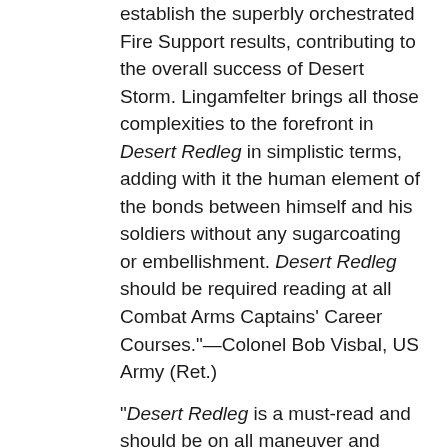establish the superbly orchestrated Fire Support results, contributing to the overall success of Desert Storm. Lingamfelter brings all those complexities to the forefront in Desert Redleg in simplistic terms, adding with it the human element of the bonds between himself and his soldiers without any sugarcoating or embellishment. Desert Redleg should be required reading at all Combat Arms Captains' Career Courses."—Colonel Bob Visbal, US Army (Ret.)
"Desert Redleg is a must-read and should be on all maneuver and support services bookshelves. As we once again focus on near peer-to-peer warfare the ability of artillery to dominate or substantially influence the outcome of a battle will be at the forefront. This well-written and researched book lays out many of the challenges we now face on coming to grips with this reality. A great addition to the military library that could not be more timely."—LTG William Carter III, US Army (Ret.)
"An important contribution on the historical writing on